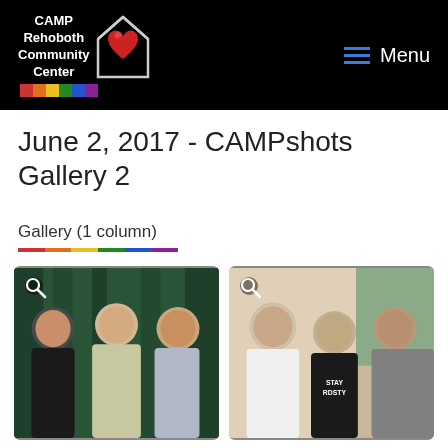CAMP Rehoboth Community Center — Menu
June 2, 2017 - CAMPshots Gallery 2
Gallery (1 column)
[Figure (photo): Three men posing together in front of a green curtain backdrop]
[Figure (photo): Three men posing together indoors; middle man wearing a black 'STAY RDSTY' shirt]